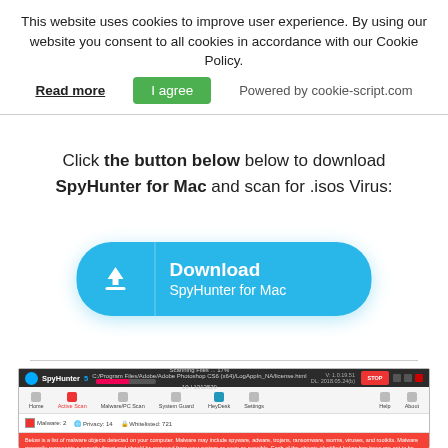This website uses cookies to improve user experience. By using our website you consent to all cookies in accordance with our Cookie Policy.
Read more   I agree   Powered by cookie-script.com
Click the button below below to download SpyHunter for Mac and scan for .isos Virus:
[Figure (screenshot): Download SpyHunter for Mac button — cyan rounded rectangle with download icon and text]
[Figure (screenshot): SpyHunter 5 application interface showing a scan in progress with malware detections listed]